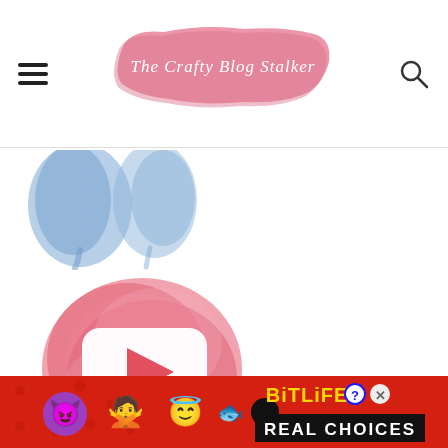The Crafty Blog Stalker
[Figure (illustration): Blue watercolor paint splash shapes at top left of content area]
[Figure (logo): YouTube play button icon overlaid on a pink/red watercolor blob splash]
[Figure (other): Advertisement banner for BitLife - Real Choices game, red background with emoji characters and golden BitLife logo text]